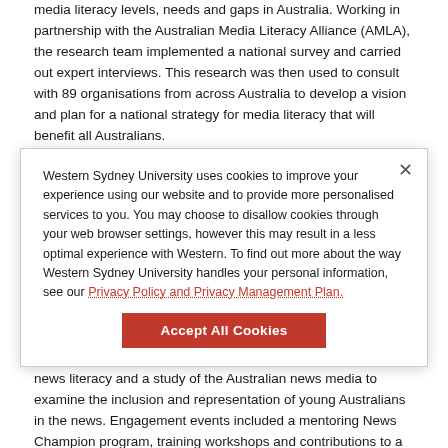media literacy levels, needs and gaps in Australia. Working in partnership with the Australian Media Literacy Alliance (AMLA), the research team implemented a national survey and carried out expert interviews. This research was then used to consult with 89 organisations from across Australia to develop a vision and plan for a national strategy for media literacy that will benefit all Australians.
Read more.
Young Australians News Literacy (2018-2020)
To develop the news literacy of young Australians, we worked with Western Sydney University and various experts. This project supported and complemented a new exhibition at ACAD through interactive and online platforms. The project activities included a national survey of young people's news engagement, a survey of teacher attitudes toward teaching news literacy and a study of the Australian news media to examine the inclusion and representation of young Australians in the news. Engagement events included a mentoring News Champion program, training workshops and contributions to a semi-permanent exhibition. Read more.
Western Sydney University uses cookies to improve your experience using our website and to provide more personalised services to you. You may choose to disallow cookies through your web browser settings, however this may result in a less optimal experience with Western. To find out more about the way Western Sydney University handles your personal information, see our Privacy Policy and Privacy Management Plan.
Accept All Cookies
Supporting Media Literacy Initiatives...